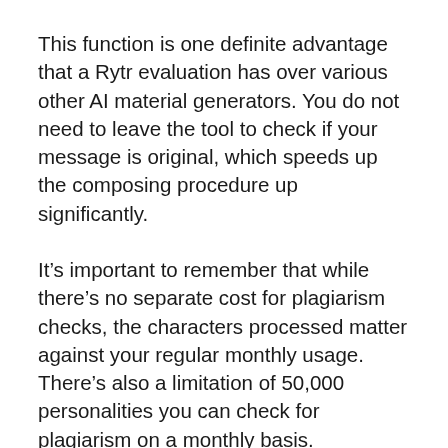This function is one definite advantage that a Rytr evaluation has over various other AI material generators. You do not need to leave the tool to check if your message is original, which speeds up the composing procedure up significantly.
It’s important to remember that while there’s no separate cost for plagiarism checks, the characters processed matter against your regular monthly usage. There’s also a limitation of 50,000 personalities you can check for plagiarism on a monthly basis.
Precision.